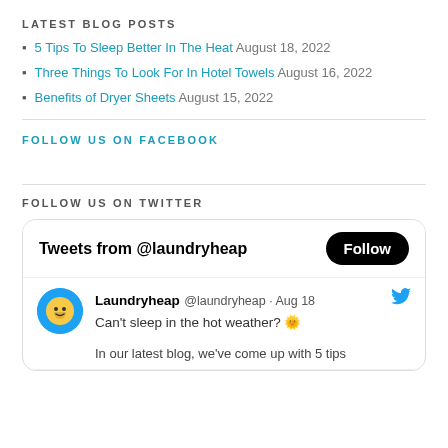LATEST BLOG POSTS
5 Tips To Sleep Better In The Heat August 18, 2022
Three Things To Look For In Hotel Towels August 16, 2022
Benefits of Dryer Sheets August 15, 2022
FOLLOW US ON FACEBOOK
FOLLOW US ON TWITTER
[Figure (screenshot): Twitter widget showing Tweets from @laundryheap with a Follow button. A tweet from Laundryheap @laundryheap dated Aug 18 reads: Can't sleep in the hot weather? 🌞 In our latest blog, we've come up with 5 tips]